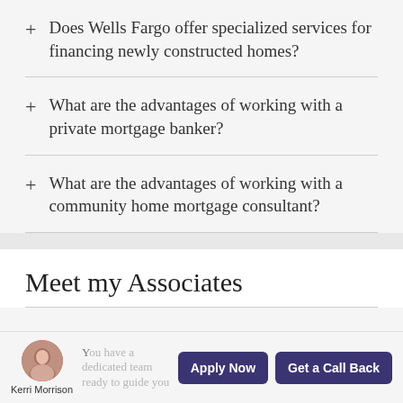Does Wells Fargo offer specialized services for financing newly constructed homes?
What are the advantages of working with a private mortgage banker?
What are the advantages of working with a community home mortgage consultant?
Meet my Associates
You have a dedicated team ready to guide you every step of the way – from a...
Kerri Morrison
Apply Now
Get a Call Back